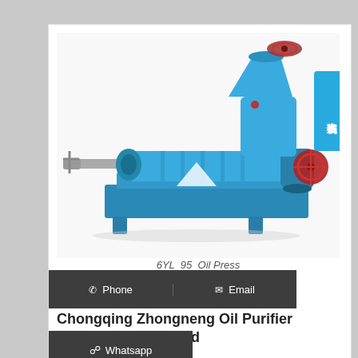[Figure (photo): Blue industrial oil press machine (6YL-95 Oil Press) on white background, with large hopper on right, cylindrical pressing barrel in center, output shaft on left, and red handwheels on both sides.]
6YL 95 Oil Press
Phone   Email
Chongqing Zhongneng Oil Purifier Manufacture Co., Ltd
Whatsapp
Application: It is mainly used in regenerating the used